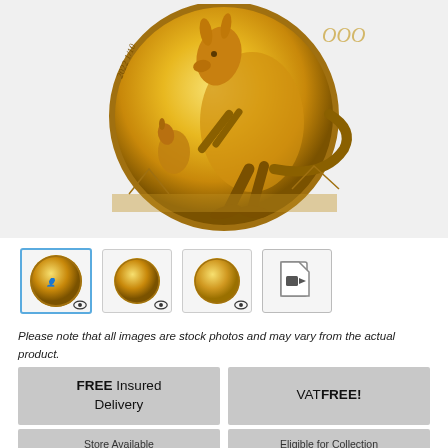[Figure (photo): Close-up of a 2022 1/10 oz Australian gold kangaroo coin showing a leaping kangaroo with joey in the background, on a gold background with grass and mountains]
[Figure (photo): Thumbnail gallery showing three coin images and a video icon]
Please note that all images are stock photos and may vary from the actual product.
FREE Insured Delivery
VAT FREE!
Store Available
Eligible for Collection